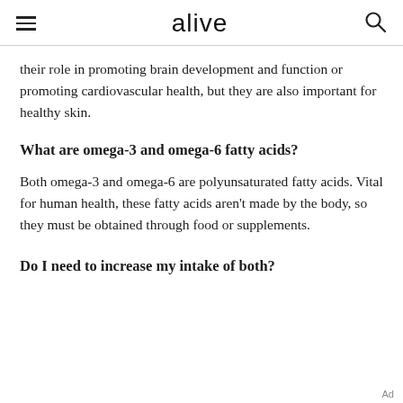alive
their role in promoting brain development and function or promoting cardiovascular health, but they are also important for healthy skin.
What are omega-3 and omega-6 fatty acids?
Both omega-3 and omega-6 are polyunsaturated fatty acids. Vital for human health, these fatty acids aren't made by the body, so they must be obtained through food or supplements.
Do I need to increase my intake of both?
Ad